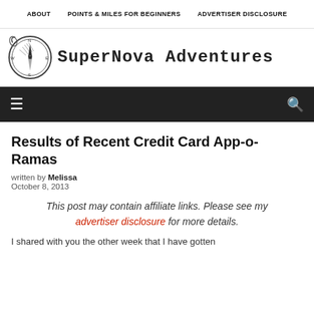ABOUT  POINTS & MILES FOR BEGINNERS  ADVERTISER DISCLOSURE
[Figure (logo): SuperNova Adventures logo with compass illustration and site name in decorative font]
hamburger menu icon and search icon on dark background navigation bar
Results of Recent Credit Card App-o-Ramas
written by Melissa
October 8, 2013
This post may contain affiliate links. Please see my advertiser disclosure for more details.
I shared with you the other week that I have gotten